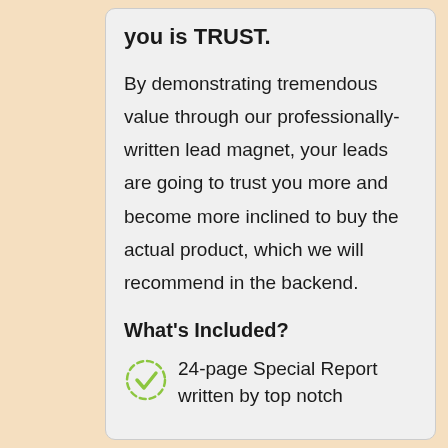you is TRUST.
By demonstrating tremendous value through our professionally-written lead magnet, your leads are going to trust you more and become more inclined to buy the actual product, which we will recommend in the backend.
What's Included?
24-page Special Report written by top notch